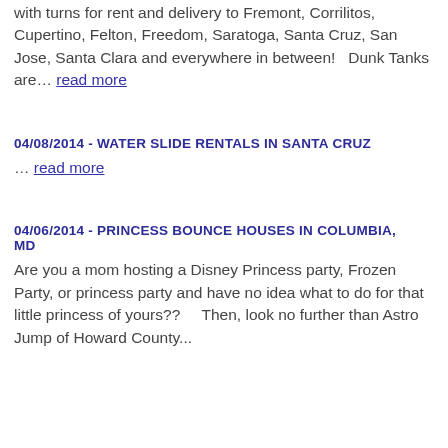with turns for rent and delivery to Fremont, Corrilitos, Cupertino, Felton, Freedom, Saratoga, Santa Cruz, San Jose, Santa Clara and everywhere in between!   Dunk Tanks are… read more
04/08/2014 - WATER SLIDE RENTALS IN SANTA CRUZ
… read more
04/06/2014 - PRINCESS BOUNCE HOUSES IN COLUMBIA, MD
Are you a mom hosting a Disney Princess party, Frozen Party, or princess party and have no idea what to do for that little princess of yours??    Then, look no further than Astro Jump of Howard County...